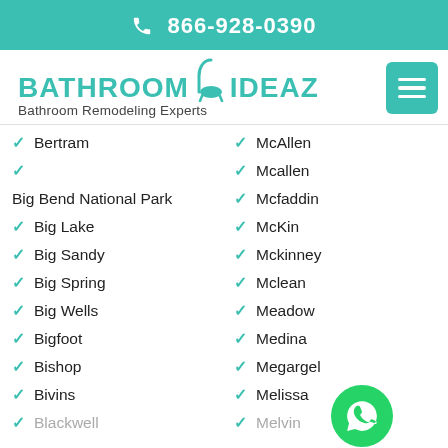866-928-0390
[Figure (logo): Bathroom Ideaz logo with shower icon and tagline 'Bathroom Remodeling Experts']
Bertram
Big Bend National Park
Big Lake
Big Sandy
Big Spring
Big Wells
Bigfoot
Bishop
Bivins
Blackwell
McAllen
Mcallen
Mcfaddin
McKin
Mckinney
Mclean
Meadow
Medina
Megargel
Melissa
Melvin